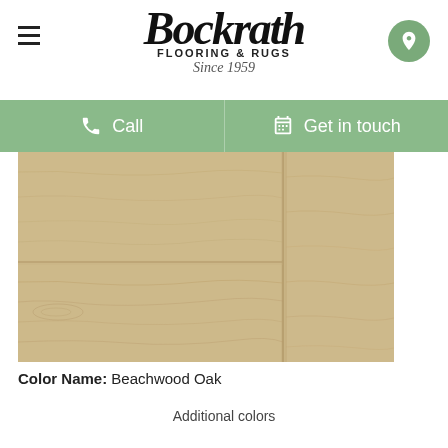Bockrath Flooring & Rugs Since 1959
Call
Get in touch
[Figure (photo): Close-up photograph of light natural wood flooring boards — Beachwood Oak color, showing wood grain texture with pale tan/cream tones and subtle plank separation lines.]
Color Name: Beachwood Oak
Additional colors